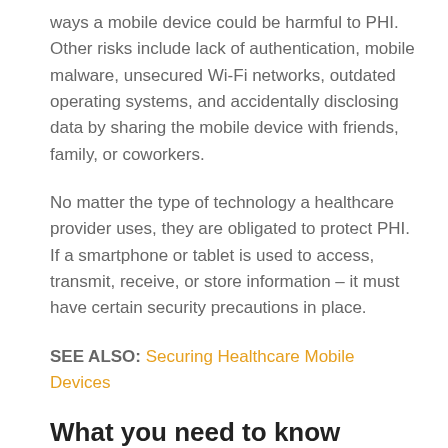ways a mobile device could be harmful to PHI. Other risks include lack of authentication, mobile malware, unsecured Wi-Fi networks, outdated operating systems, and accidentally disclosing data by sharing the mobile device with friends, family, or coworkers.
No matter the type of technology a healthcare provider uses, they are obligated to protect PHI. If a smartphone or tablet is used to access, transmit, receive, or store information – it must have certain security precautions in place.
SEE ALSO: Securing Healthcare Mobile Devices
What you need to know about passcodes